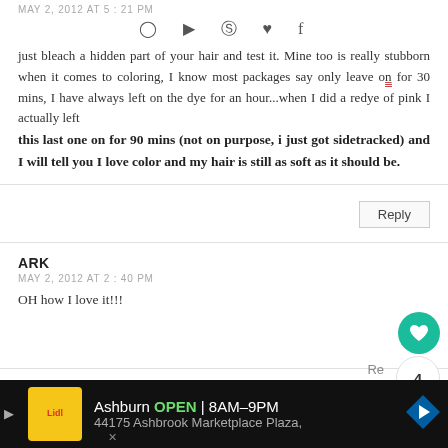MAY 2, 2012 AT 5:21 PM
just bleach a hidden part of your hair and test it. Mine too is really stubborn when it comes to coloring, I know most packages say only leave on for 30 mins, I have always left on the dye for an hour...when I did a redye of pink I actually left this last one on for 90 mins (not on purpose, i just got sidetracked) and I will tell you I love color and my hair is still as soft as it should be.
Reply
ARK
MAY 2, 2012 AT 2:40 PM
OH how I love it!!!
SHARLA
MAY 2, 2012 AT 8:04 PM
[Figure (infographic): Advertisement bar: Ashburn OPEN 8AM-9PM, 44175 Ashbrook Marketplace Plaza]